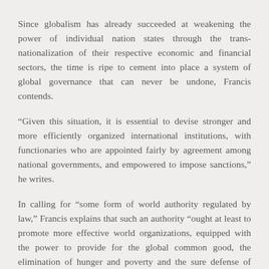Since globalism has already succeeded at weakening the power of individual nation states through the trans-nationalization of their respective economic and financial sectors, the time is ripe to cement into place a system of global governance that can never be undone, Francis contends.
“Given this situation, it is essential to devise stronger and more efficiently organized international institutions, with functionaries who are appointed fairly by agreement among national governments, and empowered to impose sanctions,” he writes.
In calling for “some form of world authority regulated by law,” Francis explains that such an authority “ought at least to promote more effective world organizations, equipped with the power to provide for the global common good, the elimination of hunger and poverty and the sure defense of fundamental human rights.”